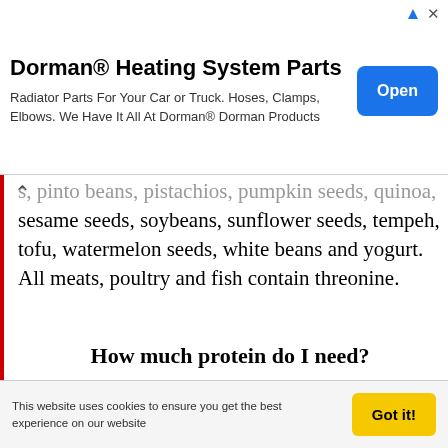[Figure (other): Advertisement banner for Dorman Heating System Parts with blue Open button]
s, pinto beans, pistachios, pumpkin seeds, quinoa, sesame seeds, soybeans, sunflower seeds, tempeh, tofu, watermelon seeds, white beans and yogurt. All meats, poultry and fish contain threonine.
How much protein do I need?
People tend to worry about getting enough protein, especially if they are vegans or vegetarians. They also worry about eating a complete protein at one meal. A complete protein contains all 9 essential amino acids. Animal products are complete proteins, meats, poultry, fish as well as dairy products and eggs.
This website uses cookies to ensure you get the best experience on our website